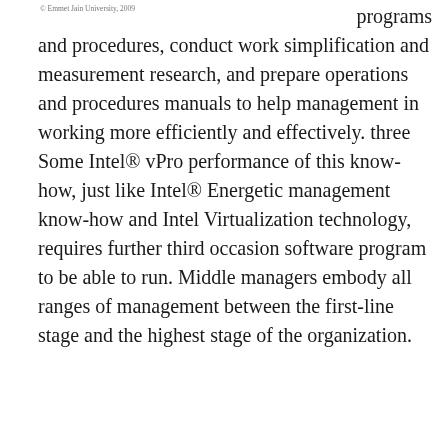© Emmet Jain University, 2009
programs and procedures, conduct work simplification and measurement research, and prepare operations and procedures manuals to help management in working more efficiently and effectively. three Some Intel® vPro performance of this know-how, just like Intel® Energetic management know-how and Intel Virtualization technology, requires further third occasion software program to be able to run. Middle managers embody all ranges of management between the first-line stage and the highest stage of the organization.